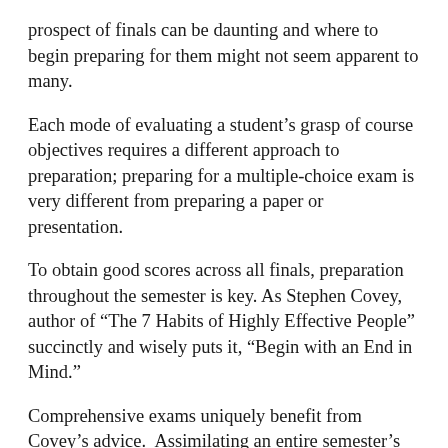prospect of finals can be daunting and where to begin preparing for them might not seem apparent to many.
Each mode of evaluating a student's grasp of course objectives requires a different approach to preparation; preparing for a multiple-choice exam is very different from preparing a paper or presentation.
To obtain good scores across all finals, preparation throughout the semester is key. As Stephen Covey, author of “The 7 Habits of Highly Effective People” succinctly and wisely puts it, “Begin with an End in Mind.”
Comprehensive exams uniquely benefit from Covey’s advice.  Assimilating an entire semester’s worth of information and retaining the knowledge for application and/or reapplication on a test requires time.
However, some students find themselves working